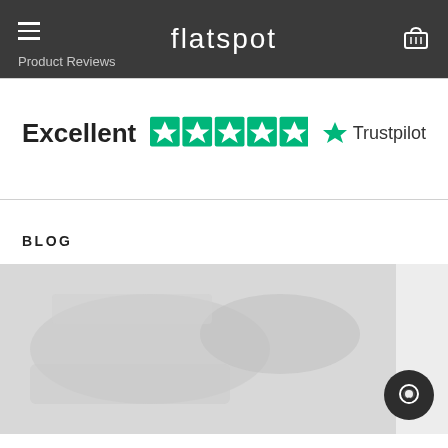flatspot
Product Reviews
[Figure (infographic): Trustpilot Excellent rating with 5 green stars and Trustpilot logo]
BLOG
[Figure (photo): Blog section image placeholder showing a faded product/skate image]